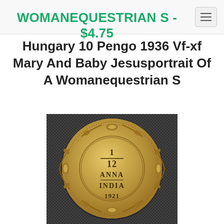WOMANEQUESTRIAN S - $4.75
Hungary 10 Pengo 1936 Vf-xf Mary And Baby Jesusportrait Of A Womanequestrian S
[Figure (photo): Close-up photo of a gold/bronze coin showing '1/12 ANNA INDIA 1921' text in the center with decorative floral border design, placed on a dark woven fabric background.]